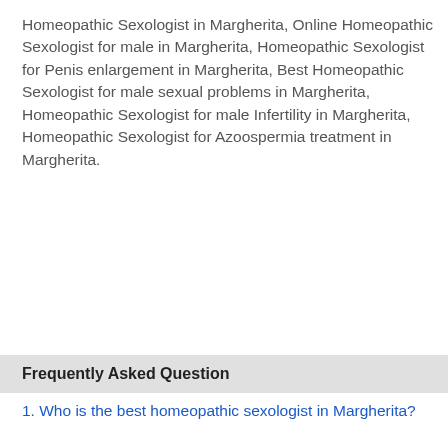Homeopathic Sexologist in Margherita, Online Homeopathic Sexologist for male in Margherita, Homeopathic Sexologist for Penis enlargement in Margherita, Best Homeopathic Sexologist for male sexual problems in Margherita, Homeopathic Sexologist for male Infertility in Margherita, Homeopathic Sexologist for Azoospermia treatment in Margherita.
Frequently Asked Question
1. Who is the best homeopathic sexologist in Margherita?